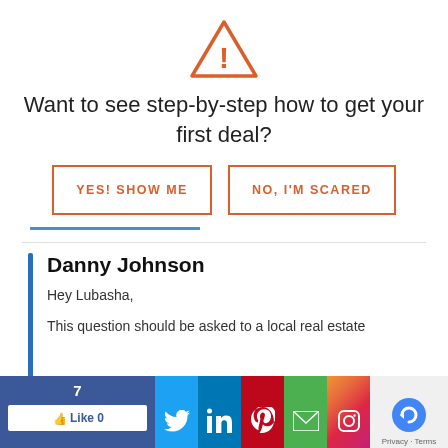[Figure (illustration): Orange warning triangle icon with exclamation mark]
Want to see step-by-step how to get your first deal?
[Figure (other): Two buttons: 'YES! SHOW ME' and 'NO, I'M SCARED' with orange border]
Danny Johnson
Hey Lubasha,
This question should be asked to a local real estate
fferent places. That's probably not the answ
wanted, but it's what you need to do to make sure
[Figure (other): Social sharing bar with Facebook (7 likes), Twitter, LinkedIn, Pinterest, Email, Instagram icons and reCAPTCHA]